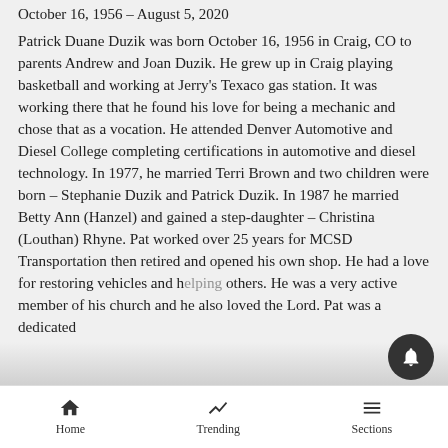October 16, 1956 – August 5, 2020
Patrick Duane Duzik was born October 16, 1956 in Craig, CO to parents Andrew and Joan Duzik. He grew up in Craig playing basketball and working at Jerry's Texaco gas station. It was working there that he found his love for being a mechanic and chose that as a vocation. He attended Denver Automotive and Diesel College completing certifications in automotive and diesel technology. In 1977, he married Terri Brown and two children were born – Stephanie Duzik and Patrick Duzik. In 1987 he married Betty Ann (Hanzel) and gained a step-daughter – Christina (Louthan) Rhyne. Pat worked over 25 years for MCSD Transportation then retired and opened his own shop. He had a love for restoring vehicles and helping others. He was a very active member of his church and he also loved the Lord. Pat was a dedicated
Home   Trending   Sections